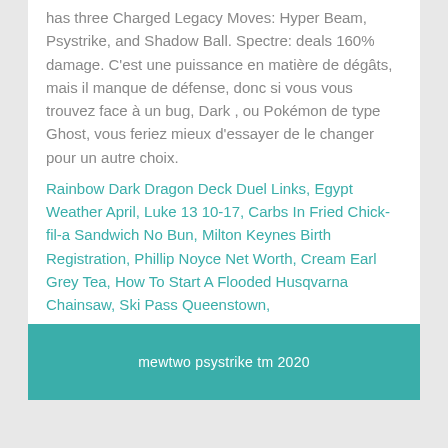has three Charged Legacy Moves: Hyper Beam, Psystrike, and Shadow Ball. Spectre: deals 160% damage. C'est une puissance en matière de dégâts, mais il manque de défense, donc si vous vous trouvez face à un bug, Dark , ou Pokémon de type Ghost, vous feriez mieux d'essayer de le changer pour un autre choix.
Rainbow Dark Dragon Deck Duel Links, Egypt Weather April, Luke 13 10-17, Carbs In Fried Chick-fil-a Sandwich No Bun, Milton Keynes Birth Registration, Phillip Noyce Net Worth, Cream Earl Grey Tea, How To Start A Flooded Husqvarna Chainsaw, Ski Pass Queenstown,
mewtwo psystrike tm 2020